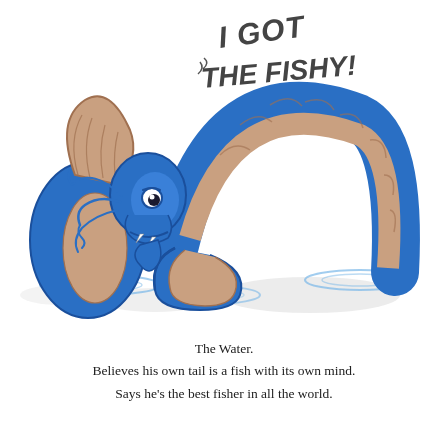[Figure (illustration): A cartoon blue sea serpent (Loch Ness monster style) emerging from water, its long tail arching up behind it. The creature has a friendly expression looking at its own tail tip. A speech bubble says 'I GOT THE FISHY!' in handwritten-style text. The monster is blue with pinkish-tan scaly belly/back markings. Blue swirling whiskers extend from its face. Water ripples surround where its body enters the water.]
The Water.
Believes his own tail is a fish with its own mind.
Says he's the best fisher in all the world.